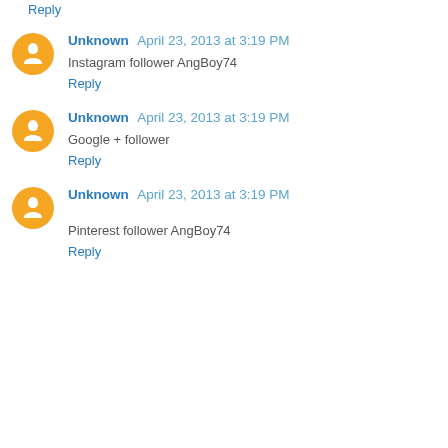Reply
Unknown  April 23, 2013 at 3:19 PM
Instagram follower AngBoy74
Reply
Unknown  April 23, 2013 at 3:19 PM
Google + follower
Reply
Unknown  April 23, 2013 at 3:19 PM
Pinterest follower AngBoy74
Reply